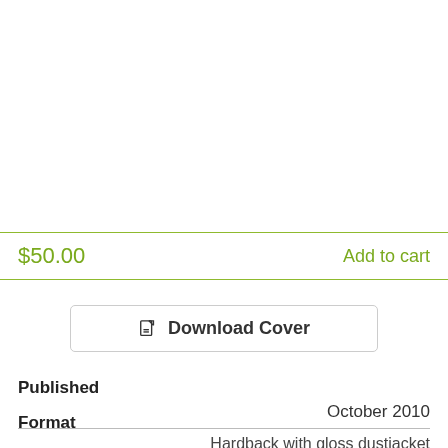$50.00
Add to cart
Download Cover
Published
October 2010
Format
Hardback with gloss dustjacket